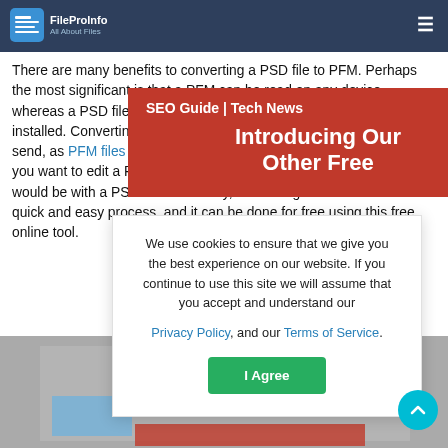FileProInfo — All About Files | Convert psd to pfm online & free
There are many benefits to converting a PSD file to PFM. Perhaps the most significant is that a PFM can be read on any device, whereas a PSD file is limited to devices that have Photoshop installed. Converting a PSD to PFM also makes it easier to share and send, as PFM files tend to be much smaller in size. Additionally, if you want to edit a PFM file, it can be much easier to do so than it would be with a PSD format. Finally, converting a PSD to PFM is a quick and easy process, and it can be done for free using this free online tool.
[Figure (screenshot): Red popup banner with text 'SEO Guide | Tech News' and 'Introducing Our Other Free' with a close (X) button]
We use cookies to ensure that we give you the best experience on our website. If you continue to use this site we will assume that you accept and understand our Privacy Policy, and our Terms of Service.
I Agree